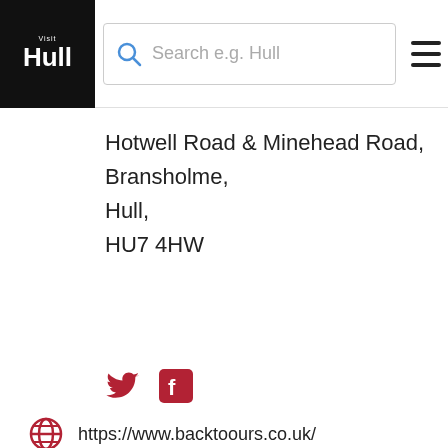[Figure (logo): Visit Hull logo - black box with 'Visit Hull' text in white]
Search e.g. Hull
Hotwell Road & Minehead Road,
Bransholme,
Hull,
HU7 4HW
[Figure (illustration): Twitter bird icon (red) and Facebook F icon (red)]
https://www.backtoours.co.uk/